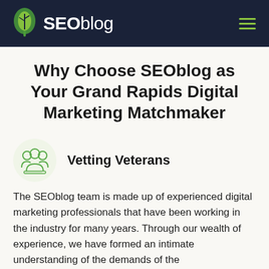SEOblog
Why Choose SEOblog as Your Grand Rapids Digital Marketing Matchmaker
Vetting Veterans
The SEOblog team is made up of experienced digital marketing professionals that have been working in the industry for many years. Through our wealth of experience, we have formed an intimate understanding of the demands of the